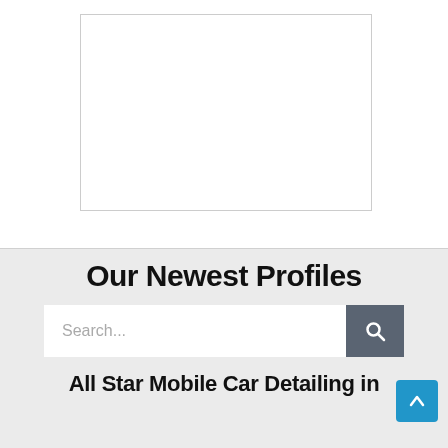[Figure (other): White rectangular image/content placeholder with thin gray border, positioned in the upper white section of the page.]
Our Newest Profiles
[Figure (screenshot): Search bar with white input field showing placeholder text 'Search...' and a dark gray search button with magnifying glass icon.]
All Star Mobile Car Detailing in